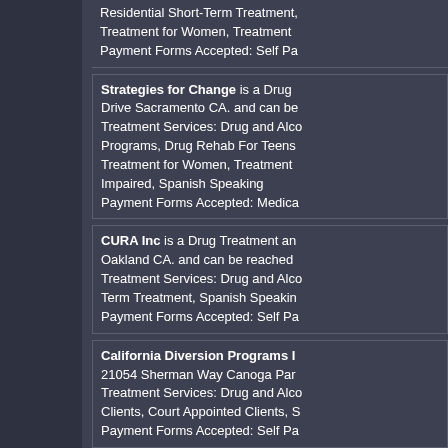Residential Short-Term Treatment, Treatment for Women, Treatment... Payment Forms Accepted: Self Pa...
Strategies for Change is a Drug... Drive Sacramento CA. and can be... Treatment Services: Drug and Alc... Programs, Drug Rehab For Teens... Treatment for Women, Treatment... Impaired, Spanish Speaking Payment Forms Accepted: Medica...
CURA Inc is a Drug Treatment an... Oakland CA. and can be reached... Treatment Services: Drug and Alc... Term Treatment, Spanish Speakin... Payment Forms Accepted: Self Pa...
California Diversion Programs I... 21054 Sherman Way Canoga Par... Treatment Services: Drug and Alc... Clients, Court Appointed Clients, S... Payment Forms Accepted: Self Pa...
Social Science Services Inc is a... Ana Avenue Bloomington CA. and... Treatment Services: Drug and Alc... Outpatient Services, Day Treatme... Long-Term Treatment, Dual Diagn... Women, Residential Beds for Ch...